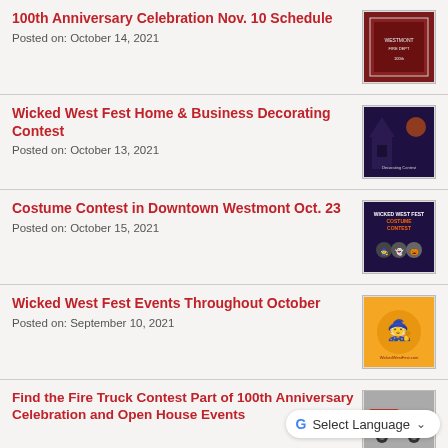100th Anniversary Celebration Nov. 10 Schedule
Posted on: October 14, 2021
[Figure (photo): Thumbnail image for 100th Anniversary Celebration schedule, dark red background with event details]
Wicked West Fest Home & Business Decorating Contest
Posted on: October 13, 2021
[Figure (photo): Thumbnail image for Wicked West Fest Home & Business Decorating Contest, purple/dark background with haunted house]
Costume Contest in Downtown Westmont Oct. 23
Posted on: October 15, 2021
[Figure (photo): Thumbnail image for Wicked West Fest Costume Contest, dark background with cartoon Halloween characters]
Wicked West Fest Events Throughout October
Posted on: September 10, 2021
[Figure (photo): Thumbnail image for Wicked West Fest Events Throughout October, orange background with witch on broomstick]
Find the Fire Truck Contest Part of 100th Anniversary Celebration and Open House Events
[Figure (photo): Thumbnail image showing a red fire truck]